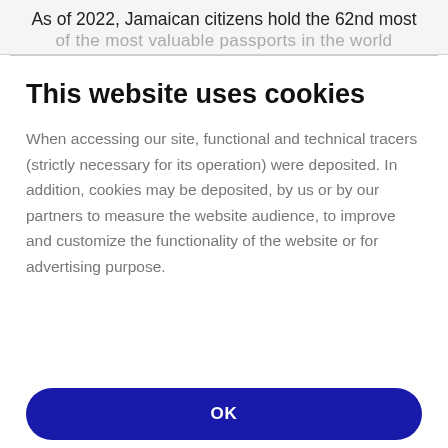As of 2022, Jamaican citizens hold the 62nd most
This website uses cookies
When accessing our site, functional and technical tracers (strictly necessary for its operation) were deposited. In addition, cookies may be deposited, by us or by our partners to measure the website audience, to improve and customize the functionality of the website or for advertising purpose.
OK